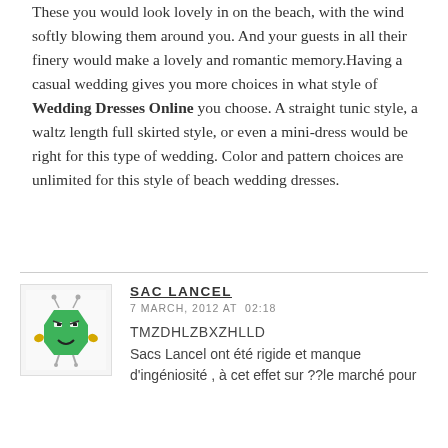These you would look lovely in on the beach, with the wind softly blowing them around you. And your guests in all their finery would make a lovely and romantic memory.Having a casual wedding gives you more choices in what style of Wedding Dresses Online you choose. A straight tunic style, a waltz length full skirted style, or even a mini-dress would be right for this type of wedding. Color and pattern choices are unlimited for this style of beach wedding dresses.
[Figure (illustration): Small cartoon avatar of a green alien/robot character with antennae, yellow hands, and a smiling face on a light background]
SAC LANCEL
7 MARCH, 2012 AT 02:18
TMZDHLZBXZHLLD
Sacs Lancel ont été rigide et manque d'ingéniosité , à cet effet sur ??le marché pour